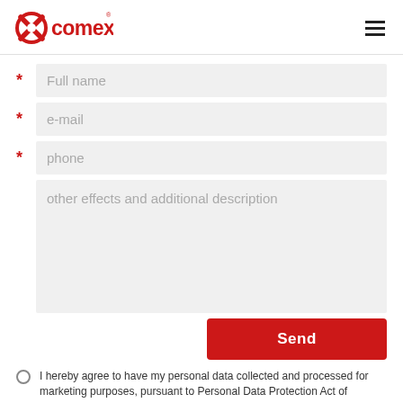Comex logo and navigation
* Full name
* e-mail
* phone
other effects and additional description
Send
I hereby agree to have my personal data collected and processed for marketing purposes, pursuant to Personal Data Protection Act of